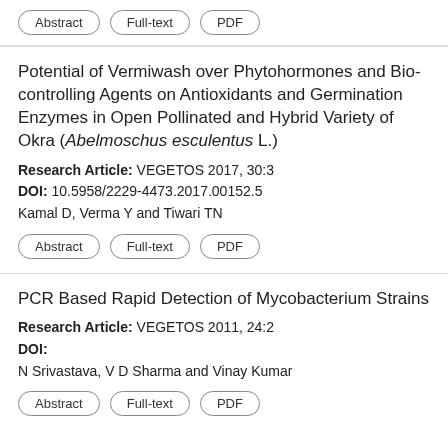Abstract | Full-text | PDF
Potential of Vermiwash over Phytohormones and Bio-controlling Agents on Antioxidants and Germination Enzymes in Open Pollinated and Hybrid Variety of Okra (Abelmoschus esculentus L.)
Research Article: VEGETOS 2017, 30:3
DOI: 10.5958/2229-4473.2017.00152.5
Kamal D, Verma Y and Tiwari TN
Abstract | Full-text | PDF
PCR Based Rapid Detection of Mycobacterium Strains
Research Article: VEGETOS 2011, 24:2
DOI:
N Srivastava, V D Sharma and Vinay Kumar
Abstract | Full-text | PDF